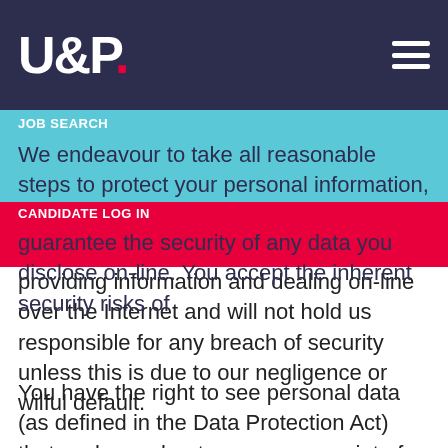U&P. [navigation bar with logo and hamburger menu]
to us with information that we receive from third-parties.
We endeavour to take all reasonable steps to protect your personal information, however, we cannot guarantee the security of any data you disclose on-line. You accept the inherent security risks of providing information and dealing on-line over the Internet and will not hold us responsible for any breach of security unless this is due to our negligence or wilful default.
JOB SEARCH
CANDIDATE LOG IN
You have the right to see personal data (as defined in the Data Protection Act) that we keep about you, upon receipt of a written request and payment of a fee. If you are concerned that any of the information we hold on you is incorrect please contact us.